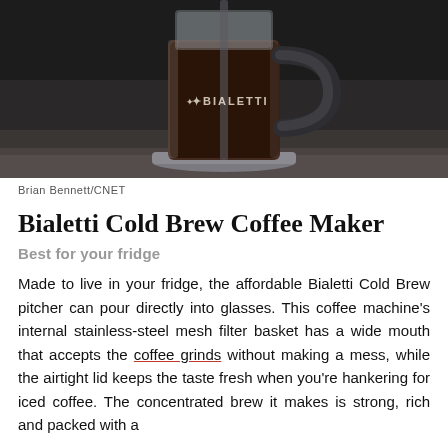[Figure (photo): Photo of a Bialetti Cold Brew Coffee Maker — a glass pitcher with dark cold brew coffee inside, a black handle, and the Bialetti logo visible on the glass. Shot on a dark background with a countertop surface below.]
Brian Bennett/CNET
Bialetti Cold Brew Coffee Maker
Best for your fridge
Made to live in your fridge, the affordable Bialetti Cold Brew pitcher can pour directly into glasses. This coffee machine's internal stainless-steel mesh filter basket has a wide mouth that accepts the coffee grinds without making a mess, while the airtight lid keeps the taste fresh when you're hankering for iced coffee. The concentrated brew it makes is strong, rich and packed with a